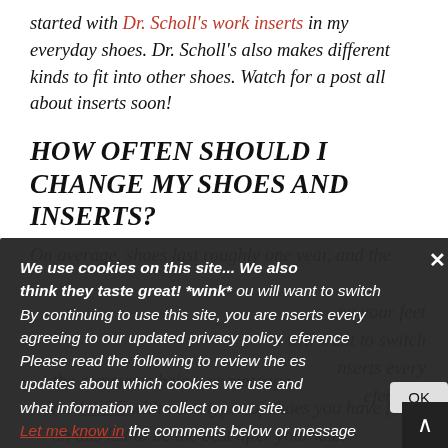started with Dr. Scholl's work inserts in my everyday shoes. Dr. Scholl's also makes different kinds to fit into other shoes. Watch for a post all about inserts soon!
HOW OFTEN SHOULD I CHANGE MY SHOES AND INSERTS?
On average, shoes last roughly one year, and the
We use cookies on this site... We also think they taste great! *wink* By continuing to use this site, you are agreeing to our updated privacy policy. Please read the following to review the updates about which cookies we use and what information we collect on our site. Cookies Policy
on your feet ... you will want to switch ... inserts every ... reference ... es
Let me know in the comments below or message me HERE with what types of shoes you have found on this list to be the best after your knee